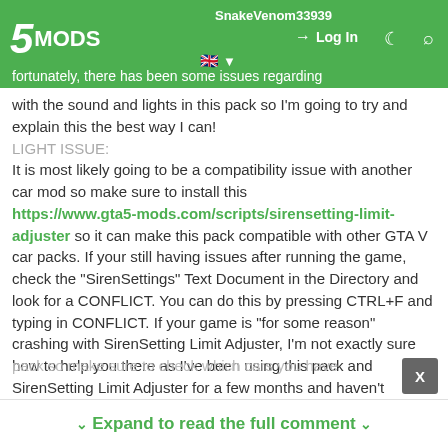5MODS | SnakeVenom33939 | Log In
fortunately, there has been some issues regarding with the sound and lights in this pack so I'm going to try and explain this the best way I can!
LIGHT ISSUE:
It is most likely going to be a compatibility issue with another car mod so make sure to install this https://www.gta5-mods.com/scripts/sirensetting-limit-adjuster so it can make this pack compatible with other GTA V car packs. If your still having issues after running the game, check the "SirenSettings" Text Document in the Directory and look for a CONFLICT. You can do this by pressing CTRL+F and typing in CONFLICT. If your game is "for some reason" crashing with SirenSetting Limit Adjuster, I'm not exactly sure how to help you there as I've been using this pack and SirenSetting Limit Adjuster for a few months and haven't experience any problems.
SOUND ISSUE:
Again, it could be compatibility issue with another car pack so make sure to check which cars you have
Expand to read the full comment